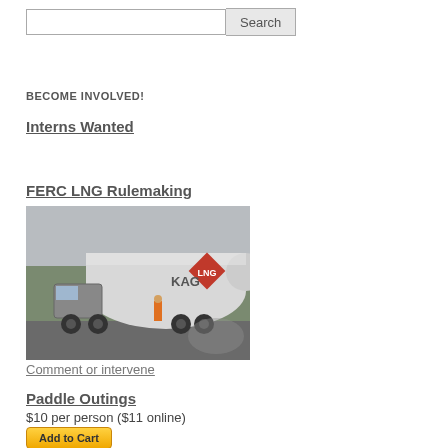Search
BECOME INVOLVED!
Interns Wanted
FERC LNG Rulemaking
[Figure (photo): A KAG tanker truck/LNG transport vehicle on a road, with a red diamond hazmat placard visible on the tank.]
Comment or intervene
Paddle Outings
$10 per person ($11 online)
Add to Cart